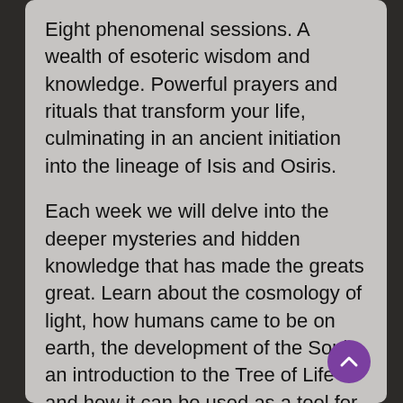Eight phenomenal sessions. A wealth of esoteric wisdom and knowledge. Powerful prayers and rituals that transform your life, culminating in an ancient initiation into the lineage of Isis and Osiris.
Each week we will delve into the deeper mysteries and hidden knowledge that has made the greats great. Learn about the cosmology of light, how humans came to be on earth, the development of the Soul, an introduction to the Tree of Life and how it can be used as a tool for spiritual development and so much more.
The Adept Initiation and program is a